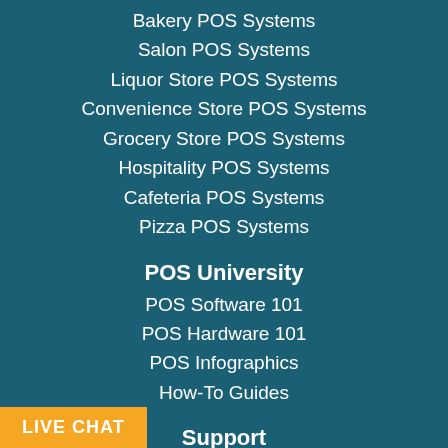Bakery POS Systems
Salon POS Systems
Liquor Store POS Systems
Convenience Store POS Systems
Grocery Store POS Systems
Hospitality POS Systems
Cafeteria POS Systems
Pizza POS Systems
POS University
POS Software 101
POS Hardware 101
POS Infographics
How-To Guides
Support
(855) 838-4611
Contact Us
LIVE CHAT